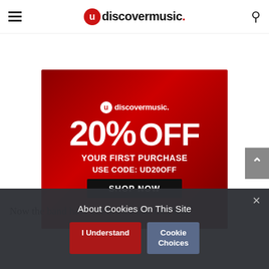udiscovermusic.
[Figure (advertisement): uDiscoverMusic advertisement banner: 20% OFF YOUR FIRST PURCHASE USE CODE: UD20OFF SHOP NOW]
Now the band have confirmed that they'll be
About Cookies On This Site — I Understand | Cookie Choices